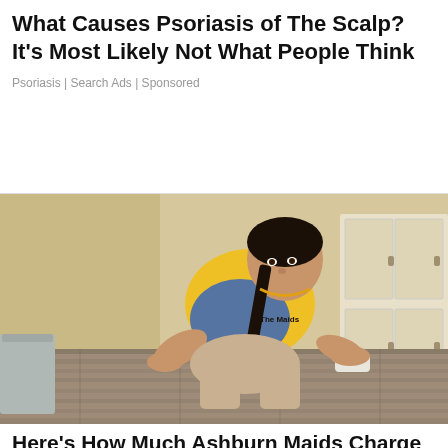What Causes Psoriasis of The Scalp? It's Most Likely Not What People Think
Psoriasis | Search Ads | Sponsored
[Figure (photo): Woman in yellow uniform cleaning a floor on hands and knees in a bathroom, wearing a blue apron, with cleaning supplies, hardwood-style floor.]
Here's How Much Ashburn Maids Charge To Clean A House
Cleaning Services | Search Ads | Sponsored